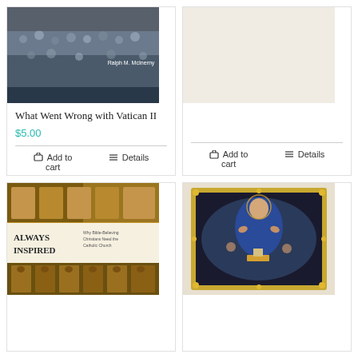[Figure (photo): Book cover: What Went Wrong with Vatican II by Ralph M. McInerny — crowd of people]
What Went Wrong with Vatican II
$5.00
Add to cart | Details
[Figure (photo): Book cover (right top): partially visible, no title shown]
Add to cart | Details
[Figure (photo): Book cover: Always Inspired — Why Bible-Believing Christians Need the Catholic Church, with Byzantine icon imagery]
[Figure (photo): Book cover: Religious painting featuring Virgin Mary with candles and cherubs, ornate golden frame]